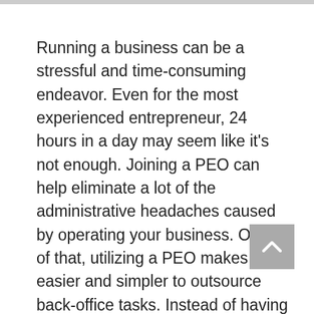Running a business can be a stressful and time-consuming endeavor. Even for the most experienced entrepreneur, 24 hours in a day may seem like it's not enough. Joining a PEO can help eliminate a lot of the administrative headaches caused by operating your business. On top of that, utilizing a PEO makes it easier and simpler to outsource back-office tasks. Instead of having a separate provider for payroll, a provider for benefits, and another provider for workers' comp, it is much simpler to outsource all these functions under one provider. Let a PEO handle your administrative tasks while you focus on actually running and scaling